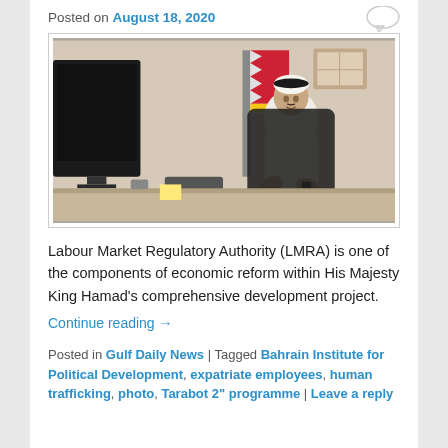Posted on August 18, 2020
[Figure (photo): A man in traditional Gulf white thobe and black agal seated at a desk in an office, with a Bahrain national flag in the background]
Labour Market Regulatory Authority (LMRA) is one of the components of economic reform within His Majesty King Hamad's comprehensive development project.
Continue reading →
Posted in Gulf Daily News | Tagged Bahrain Institute for Political Development, expatriate employees, human trafficking, photo, Tarabot 2" programme | Leave a reply